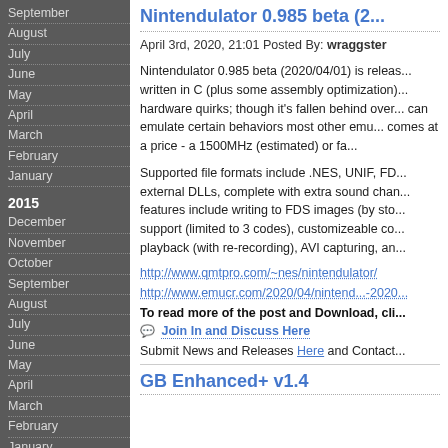September
August
July
June
May
April
March
February
January
2015
December
November
October
September
August
July
June
May
April
March
February
January
2014
December
November
October
September
August
July
June
May
April
March
February
Nintendulator 0.985 beta (2...
April 3rd, 2020, 21:01 Posted By: wraggster
Nintendulator 0.985 beta (2020/04/01) is released. written in C (plus some assembly optimization)... hardware quirks; though it's fallen behind over... can emulate certain behaviors most other emu... comes at a price - a 1500MHz (estimated) or fa...
Supported file formats include .NES, UNIF, FD... external DLLs, complete with extra sound chan... features include writing to FDS images (by sto... support (limited to 3 codes), customizeable co... playback (with re-recording), AVI capturing, an...
http://www.qmtpro.com/~nes/nintendulator/
http://www.emucr.com/2020/04/nintend...-2020...
To read more of the post and Download, cli...
Join In and Discuss Here
Submit News and Releases Here and Contact...
GB Enhanced+ v1.4